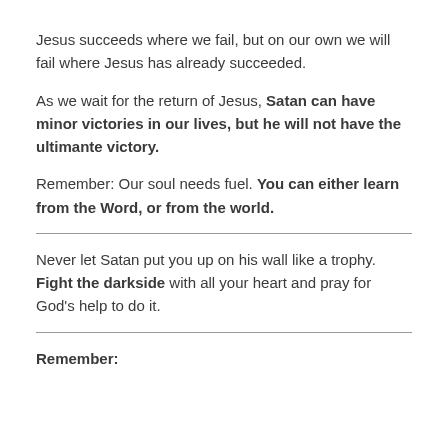Jesus succeeds where we fail, but on our own we will fail where Jesus has already succeeded.
As we wait for the return of Jesus, Satan can have minor victories in our lives, but he will not have the ultimante victory.
Remember: Our soul needs fuel. You can either learn from the Word, or from the world.
Never let Satan put you up on his wall like a trophy. Fight the darkside with all your heart and pray for God’s help to do it.
Remember: